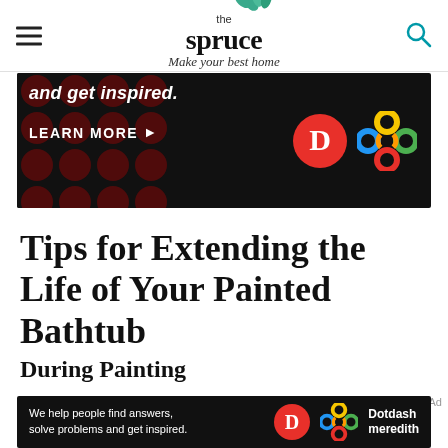the spruce — Make your best home
[Figure (screenshot): Advertisement banner with dark background, polka dot pattern, 'and get inspired.' text, 'LEARN MORE' button with arrow, Dotdash D logo and colorful knot logo on black background]
Tips for Extending the Life of Your Painted Bathtub
During Painting
If you're painting your own bathtub, follow
[Figure (screenshot): Bottom advertisement banner for Dotdash Meredith with text 'We help people find answers, solve problems and get inspired.' with D logo and colorful knot logo]